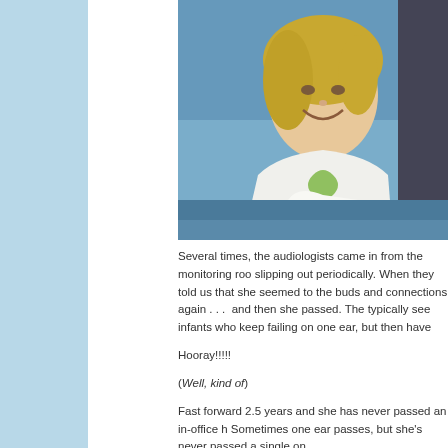[Figure (photo): A smiling woman holding a baby, sitting in what appears to be a medical or hospital room setting with blue upholstery visible in the background. The woman is wearing a white top with a green design.]
Several times, the audiologists came in from the monitoring roo slipping out periodically. When they told us that she seemed to the buds and connections again . . .  and then she passed. The typically see infants who keep failing on one ear, but then have
Hooray!!!!!
(Well, kind of)
Fast forward 2.5 years and she has never passed an in-office h Sometimes one ear passes, but she's never passed a single on